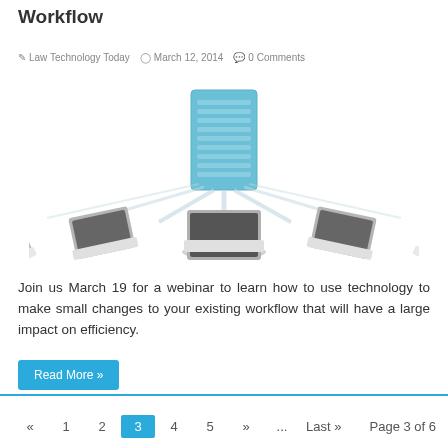Workflow
Law Technology Today   March 12, 2014   0 Comments
[Figure (illustration): Illustration of multiple laptops connected to a central blue server tower, representing a networked workflow system]
Join us March 19 for a webinar to learn how to use technology to make small changes to your existing workflow that will have a large impact on efficiency.
Read More »
« 1 2 3 4 5 » ... Last » Page 3 of 6